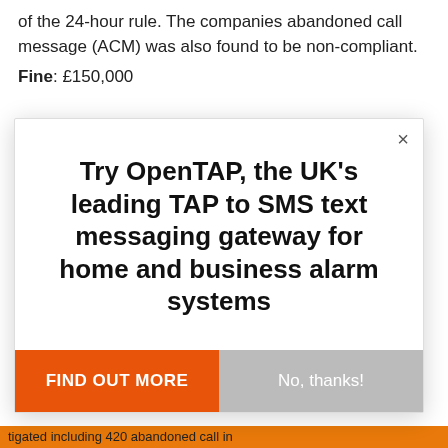of the 24-hour rule. The companies abandoned call message (ACM) was also found to be non-compliant.
Fine: £150,000
[Figure (screenshot): Modal popup advertising OpenTAP SMS gateway service with 'FIND OUT MORE' and 'No, thanks!' buttons, and a close (×) button in the top right.]
tigated including 420 abandoned call in